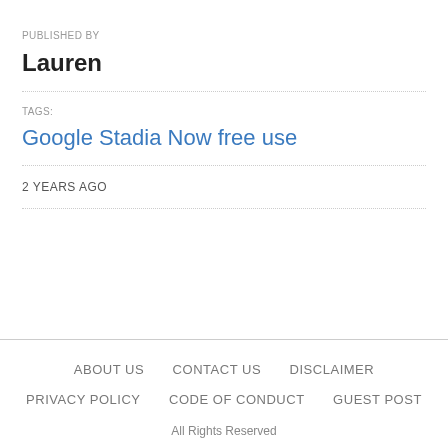PUBLISHED BY
Lauren
TAGS:
Google Stadia Now free use
2 YEARS AGO
ABOUT US   CONTACT US   DISCLAIMER   PRIVACY POLICY   CODE OF CONDUCT   GUEST POST   All Rights Reserved